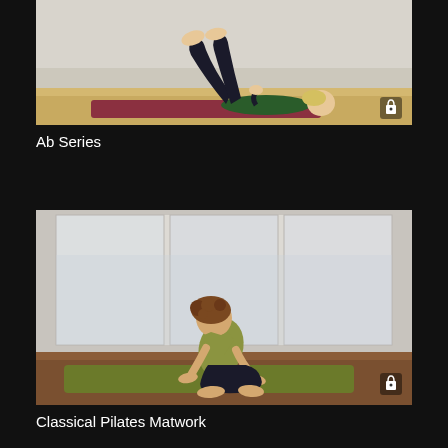[Figure (photo): Woman lying on a red/pink yoga mat performing a Pilates ab exercise, legs raised and bent toward head, wearing green top and black pants, in a studio with light walls and wood floor. A lock icon appears in the bottom-right corner of the thumbnail.]
Ab Series
[Figure (photo): Woman sitting on a green yoga mat performing a Pilates matwork exercise, knees bent to chest, wearing olive/green tank top and black pants, in a modern studio with large windows showing city view. A lock icon appears in the bottom-right corner of the thumbnail.]
Classical Pilates Matwork